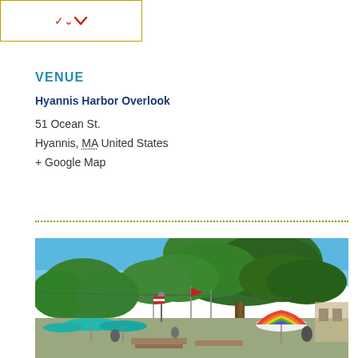[Figure (other): Dropdown or collapsed box element with a red chevron/arrow pointing downward, bordered in olive/gold color]
VENUE
Hyannis Harbor Overlook
51 Ocean St.
Hyannis, MA United States
+ Google Map
[Figure (photo): Outdoor photo of Hyannis Harbor Overlook showing large green trees against a bright blue sky, with colorful umbrellas, picnic tables, flags, and people visible below the canopy]